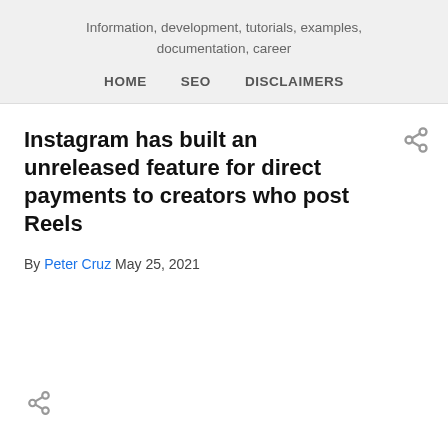Information, development, tutorials, examples, documentation, career
HOME   SEO   DISCLAIMERS
Instagram has built an unreleased feature for direct payments to creators who post Reels
By Peter Cruz May 25, 2021